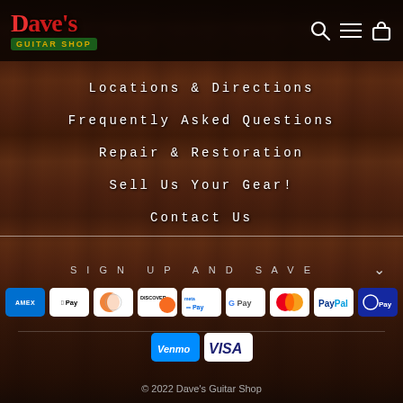Dave's Guitar Shop — navigation header with search, menu, and bag icons
Locations & Directions
Frequently Asked Questions
Repair & Restoration
Sell Us Your Gear!
Contact Us
SIGN UP AND SAVE
[Figure (other): Payment method icons: American Express, Apple Pay, Diners Club, Discover, Meta Pay, Google Pay, Mastercard, PayPal, Samsung Pay, Venmo, Visa]
© 2022 Dave's Guitar Shop